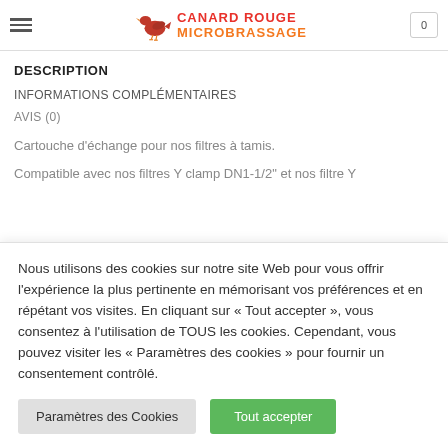CANARD ROUGE MICROBRASSAGE
DESCRIPTION
INFORMATIONS COMPLÉMENTAIRES
AVIS (0)
Cartouche d'échange pour nos filtres à tamis.
Compatible avec nos filtres Y clamp DN1-1/2" et nos filtre Y
Nous utilisons des cookies sur notre site Web pour vous offrir l'expérience la plus pertinente en mémorisant vos préférences et en répétant vos visites. En cliquant sur « Tout accepter », vous consentez à l'utilisation de TOUS les cookies. Cependant, vous pouvez visiter les « Paramètres des cookies » pour fournir un consentement contrôlé.
Paramètres des Cookies
Tout accepter